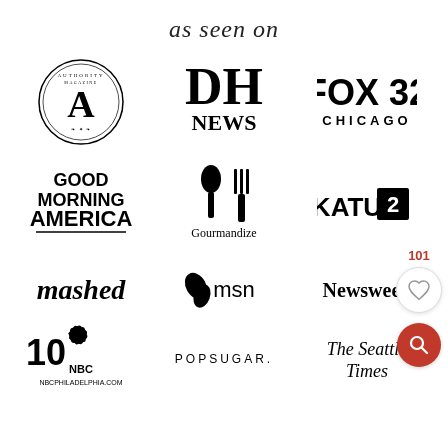as seen on
[Figure (logo): Authority Magazine circular logo with ornate border and letter A]
[Figure (logo): DH NEWS logo in large bold serif font]
[Figure (logo): FOX 32 CHICAGO logo in bold black]
[Figure (logo): Good Morning America logo in bold black]
[Figure (logo): Gourmandize logo with fork and spoon icon]
[Figure (logo): KATU 2 logo in bold black]
[Figure (logo): mashed logo in lowercase italic black]
[Figure (logo): msn logo with butterfly icon]
[Figure (logo): Newsweek logo in black serif]
[Figure (logo): 10 NBC Philadelphia logo with NBC peacock]
[Figure (logo): POPSUGAR logo in spaced capitals]
[Figure (logo): The Seattle Times logo in serif black]